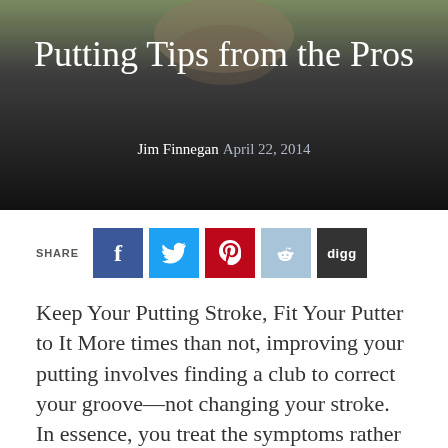[Figure (photo): Hero image of a person wearing a hat, overlaid with article title and byline on a dark background]
Putting Tips from the Pros
Jim Finnegan April 22, 2014
[Figure (infographic): Social share buttons row: SHARE label followed by Facebook, Twitter, Pinterest, Reddit, and Digg buttons]
Keep Your Putting Stroke, Fit Your Putter to It More times than not, improving your putting involves finding a club to correct your groove—not changing your stroke. In essence, you treat the symptoms rather than the cause. Thanks to its Science and Motion PuttLab system, Club